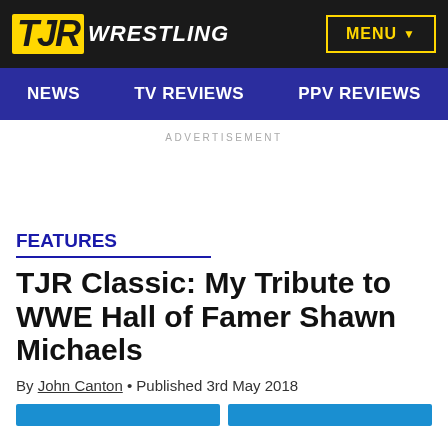TJR WRESTLING — MENU
NEWS  TV REVIEWS  PPV REVIEWS
ADVERTISEMENT
FEATURES
TJR Classic: My Tribute to WWE Hall of Famer Shawn Michaels
By John Canton • Published 3rd May 2018